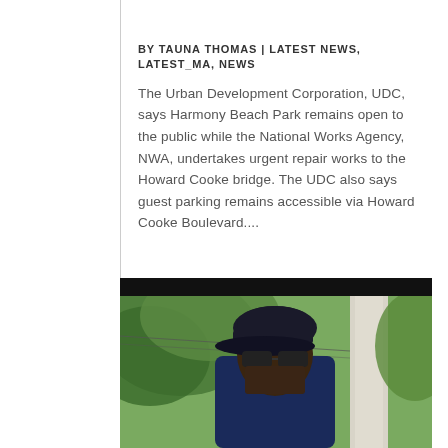BY TAUNA THOMAS | LATEST NEWS, LATEST_MA, NEWS
The Urban Development Corporation, UDC, says Harmony Beach Park remains open to the public while the National Works Agency, NWA, undertakes urgent repair works to the Howard Cooke bridge. The UDC also says guest parking remains accessible via Howard Cooke Boulevard....
[Figure (photo): Photo of a man wearing a dark baseball cap and sunglasses, standing outdoors near a tree trunk with green foliage in the background. A dark header bar appears at the top of the image.]